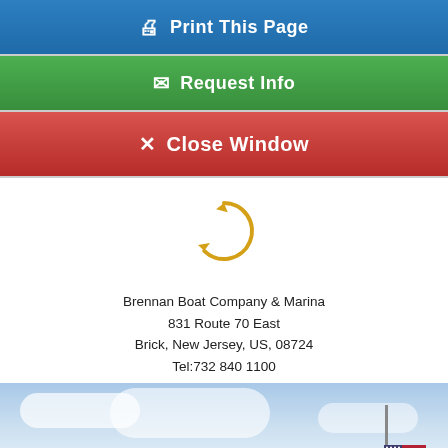🖨 Print This Page
✉ Request Info
✕ Close Window
[Figure (illustration): A golden circular loading spinner icon (arc with arrowheads at ends), shown on a white background, indicating a page loading state.]
Brennan Boat Company & Marina
831 Route 70 East
Brick, New Jersey, US, 08724
Tel:732 840 1100
[Figure (photo): Photo of a blue sky with white clouds and an American flag on a pole visible at the bottom right corner.]